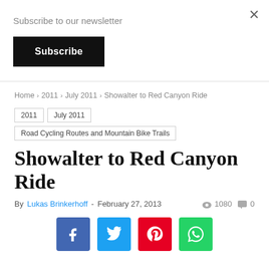Subscribe to our newsletter
Subscribe
Home › 2011 › July 2011 › Showalter to Red Canyon Ride
2011   July 2011   Road Cycling Routes and Mountain Bike Trails
Showalter to Red Canyon Ride
By Lukas Brinkerhoff - February 27, 2013   👁 1080  💬 0
[Figure (other): Social share buttons: Facebook, Twitter, Pinterest, WhatsApp]